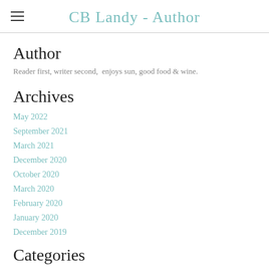CB Landy - Author
Author
Reader first, writer second,  enjoys sun, good food & wine.
Archives
May 2022
September 2021
March 2021
December 2020
October 2020
March 2020
February 2020
January 2020
December 2019
Categories